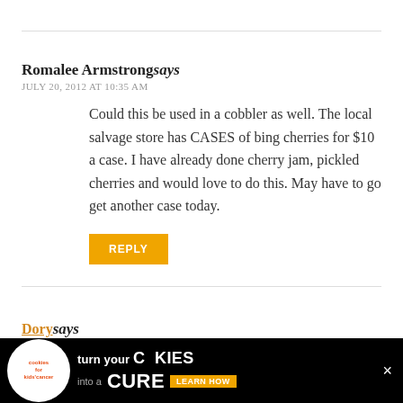Romalee Armstrong says
JULY 20, 2012 AT 10:35 AM
Could this be used in a cobbler as well. The local salvage store has CASES of bing cherries for $10 a case. I have already done cherry jam, pickled cherries and would love to do this. May have to go get another case today.
REPLY
Dory says
JULY 23, 2012 AT 9:38 PM
[Figure (other): Advertisement banner: cookies for kids cancer - turn your cookies into a CURE LEARN HOW]